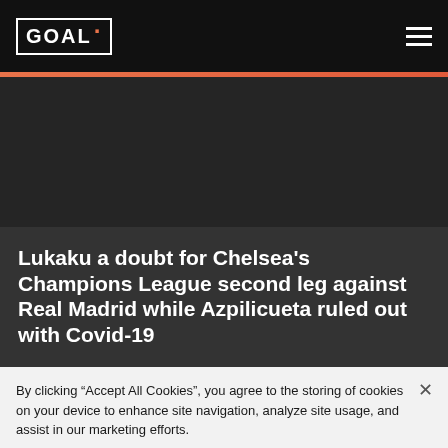GOAL
Lukaku a doubt for Chelsea's Champions League second leg against Real Madrid while Azpilicueta ruled out with Covid-19
By clicking “Accept All Cookies”, you agree to the storing of cookies on your device to enhance site navigation, analyze site usage, and assist in our marketing efforts.